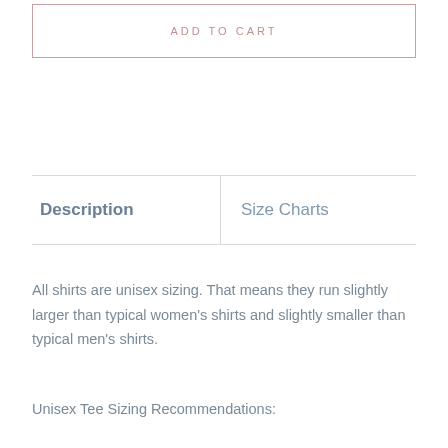ADD TO CART
Description
Size Charts
All shirts are unisex sizing. That means they run slightly larger than typical women's shirts and slightly smaller than typical men's shirts.
Unisex Tee Sizing Recommendations: